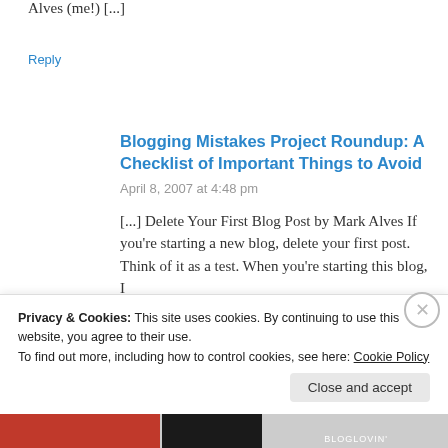Alves (me!) [...]
Reply
Blogging Mistakes Project Roundup: A Checklist of Important Things to Avoid
April 8, 2007 at 4:48 pm
[...] Delete Your First Blog Post by Mark Alves If you’re starting a new blog, delete your first post. Think of it as a test. When you’re starting this blog, I
Privacy & Cookies: This site uses cookies. By continuing to use this website, you agree to their use.
To find out more, including how to control cookies, see here: Cookie Policy
Close and accept